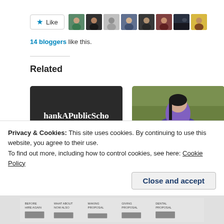[Figure (other): Like button with star icon followed by 8 avatar thumbnails of bloggers]
14 bloggers like this.
Related
[Figure (other): Image card 1: dark background with text 'hankAPublicScho']
How To Support A Scholar Who Has Come Under Attack
Adjuncting And Academic Freedom
June 25, 2015
Privacy & Cookies: This site uses cookies. By continuing to use this website, you agree to their use.
To find out more, including how to control cookies, see here: Cookie Policy
Close and accept